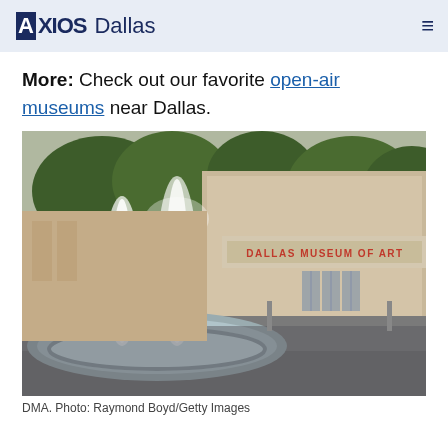AXIOS Dallas
More: Check out our favorite open-air museums near Dallas.
[Figure (photo): Exterior of the Dallas Museum of Art showing a fountain with water jets in the foreground and the museum entrance with 'DALLAS MUSEUM OF ART' signage, surrounded by trees.]
DMA. Photo: Raymond Boyd/Getty Images